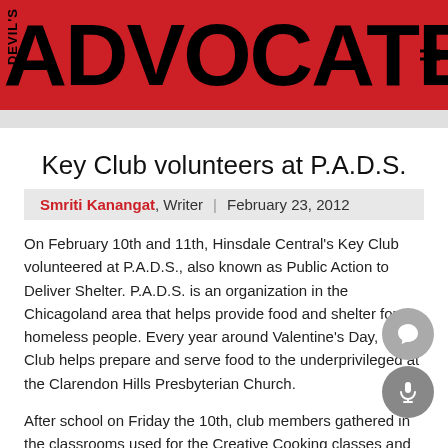[Figure (logo): Devil's Advocate newspaper masthead logo — red banner with large black bold text 'ADVOCATE' and smaller vertical text 'DEVIL'S' on the left, hamburger menu lines on the right.]
Key Club volunteers at P.A.D.S.
Smriti Kanangat, Writer | February 23, 2012
On February 10th and 11th, Hinsdale Central's Key Club volunteered at P.A.D.S., also known as Public Action to Deliver Shelter. P.A.D.S. is an organization in the Chicagoland area that helps provide food and shelter for homeless people. Every year around Valentine's Day, Key Club helps prepare and serve food to the underprivileged at the Clarendon Hills Presbyterian Church.
After school on Friday the 10th, club members gathered in the classrooms used for the Creative Cooking classes and stayed until about 8 or 9 p.m. to cook the meals and prepare a lot of food.